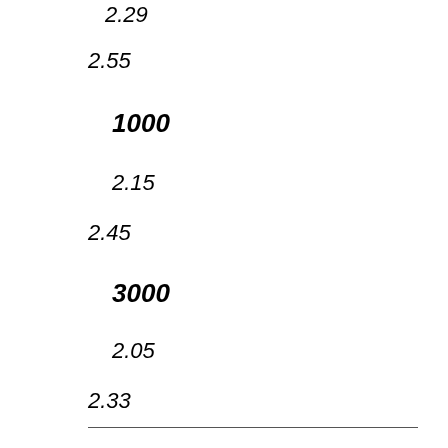2.29
2.55
1000
2.15
2.45
3000
2.05
2.33